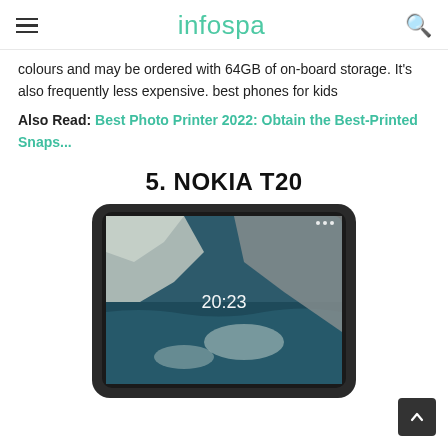infospa
colours and may be ordered with 64GB of on-board storage. It's also frequently less expensive. best phones for kids
Also Read: Best Photo Printer 2022: Obtain the Best-Printed Snaps...
5. NOKIA T20
[Figure (photo): Nokia T20 tablet showing a landscape wallpaper with ocean/glacier scene, displaying time 20:23 on the lock screen, in a dark grey/black frame.]